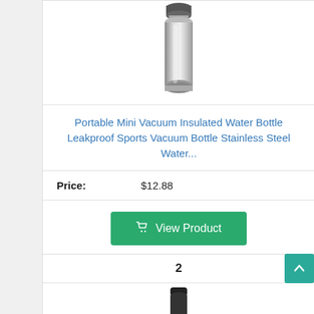[Figure (photo): Stainless steel mini vacuum insulated water bottle, silver/metallic finish, shown from above cropped at top]
Portable Mini Vacuum Insulated Water Bottle Leakproof Sports Vacuum Bottle Stainless Steel Water...
Price: $12.88
View Product
2
[Figure (photo): Partial view of a dark-colored water bottle or sports bottle at the bottom of the page]